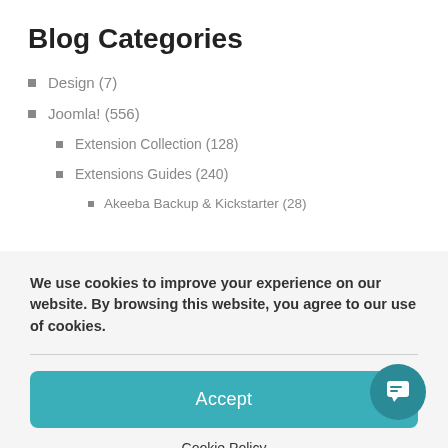Blog Categories
Design (7)
Joomla! (556)
Extension Collection (128)
Extensions Guides (240)
Akeeba Backup & Kickstarter (28)
We use cookies to improve your experience on our website. By browsing this website, you agree to our use of cookies.
Accept
Cookie Policy